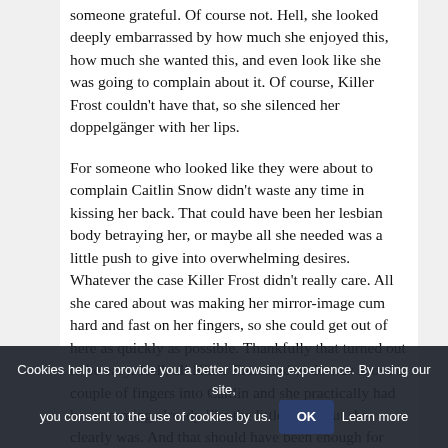someone grateful. Of course not. Hell, she looked deeply embarrassed by how much she enjoyed this, how much she wanted this, and even look like she was going to complain about it. Of course, Killer Frost couldn't have that, so she silenced her doppelgänger with her lips.
For someone who looked like they were about to complain Caitlin Snow didn't waste any time in kissing her back. That could have been her lesbian body betraying her, or maybe all she needed was a little push to give into overwhelming desires. Whatever the case Killer Frost didn't really care. All she cared about was making her mirror-image cum hard and fast on her fingers, so she could get out of here as quickly as possible. Thankfully that turned out to be easy. Hell, all Killer Frost had to do was shove a couple of fingers into Caitlin and she practically had her cumming already like the little dyke slut she clearly was. And that should have been enough for Killer Frost. It normally was, but for once she was compelled to continue, and that's exactly what she did.
So over, and over, and over again Killer Frost fucked Caitlin Snow to orgasm after orgasm. Sometimes she would kiss her to do this, practically gripping the entire time while she made the other girl whimper, gasp and scream into her from the kisses she was giving to her. Given their current predicament Killer Frost probably should have stayed like that, but she just
Cookies help us provide you a better browsing experience. By using our site, you consent to the use of cookies by us. OK Learn more